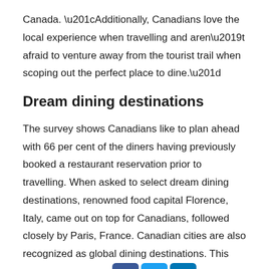Canada. “Additionally, Canadians love the local experience when travelling and aren’t afraid to venture away from the tourist trail when scoping out the perfect place to dine.”
Dream dining destinations
The survey shows Canadians like to plan ahead with 66 per cent of the diners having previously booked a restaurant reservation prior to travelling. When asked to select dream dining destinations, renowned food capital Florence, Italy, came out on top for Canadians, followed closely by Paris, France. Canadian cities are also recognized as global dining destinations. This includes Montréal, [social icons] travellers can dine on local favourites such disco poutine from Dieville